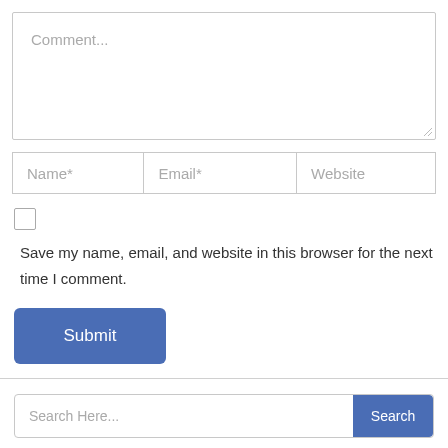[Figure (screenshot): Comment textarea input field with placeholder text 'Comment...' and resize handle at bottom right]
[Figure (screenshot): Three input fields in a row: Name*, Email*, Website]
[Figure (screenshot): Checkbox (unchecked)]
Save my name, email, and website in this browser for the next time I comment.
[Figure (screenshot): Submit button with blue rounded rectangle and white text 'Submit']
[Figure (screenshot): Search bar with placeholder 'Search Here...' and blue Search button]